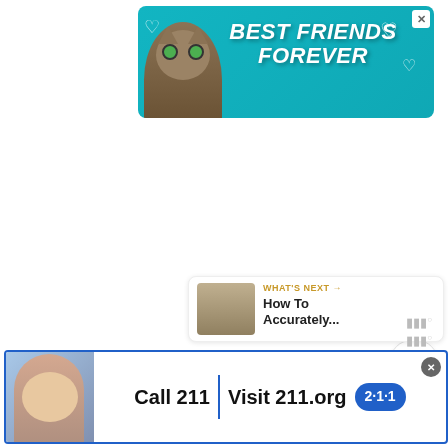[Figure (illustration): Advertisement banner with teal background featuring a cat and text 'BEST FRIENDS FOREVER' in white bold italic font with heart decorations. Close button X in top right corner.]
[Figure (illustration): Gold circular like/heart button on the right side of the page]
1
[Figure (illustration): White circular share button with share icon on right side of page]
[Figure (screenshot): What's Next panel with kitchen image thumbnail and text 'WHAT'S NEXT → How To Accurately...']
[Figure (illustration): Advertisement banner at bottom: 'Call 211 | Visit 211.org' with 2-1-1 logo badge, child photo on left, close button X]
[Figure (illustration): Small meter/signal icons in bottom right area]